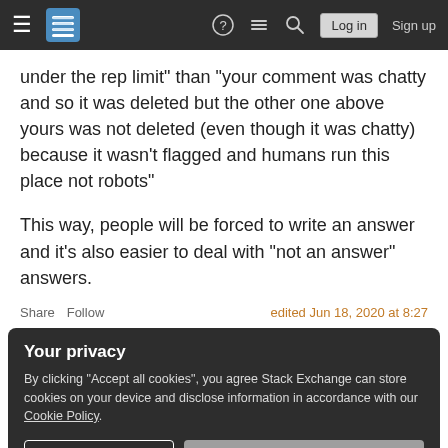Stack Exchange navigation bar with hamburger menu, logo, help icon, chat icon, search icon, Log in button, Sign up button
under the rep limit" than "your comment was chatty and so it was deleted but the other one above yours was not deleted (even though it was chatty) because it wasn't flagged and humans run this place not robots"
This way, people will be forced to write an answer and it's also easier to deal with "not an answer" answers.
Share  Follow  edited Jun 18, 2020 at 8:27
Your privacy
By clicking "Accept all cookies", you agree Stack Exchange can store cookies on your device and disclose information in accordance with our Cookie Policy.
Accept all cookies    Customize settings
4  Alternately - ignore association bonus for commenting